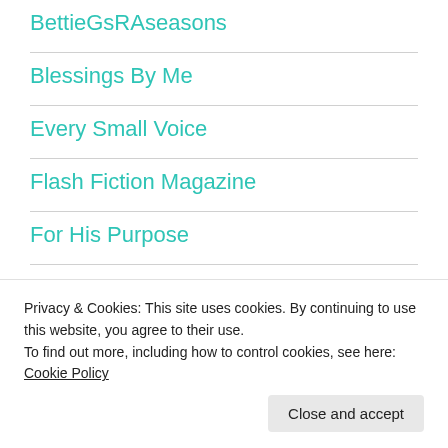BettieGsRAseasons
Blessings By Me
Every Small Voice
Flash Fiction Magazine
For His Purpose
From This Side of the Pond
Privacy & Cookies: This site uses cookies. By continuing to use this website, you agree to their use.
To find out more, including how to control cookies, see here: Cookie Policy
Close and accept